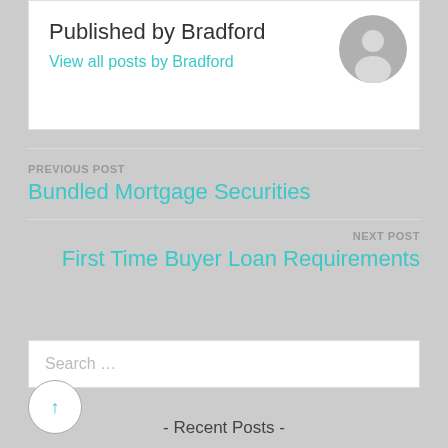Published by Bradford
View all posts by Bradford
PREVIOUS POST
Bundled Mortgage Securities
NEXT POST
First Time Buyer Loan Requirements
Search …
- Recent Posts -